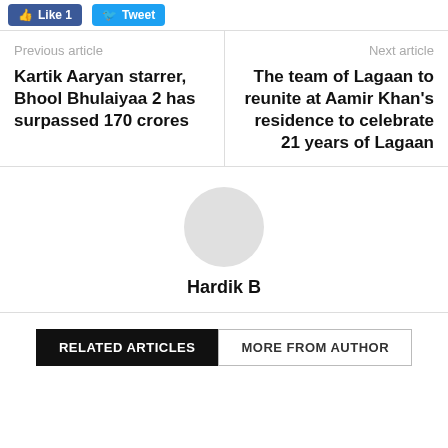Like 1  Tweet
Previous article
Kartik Aaryan starrer, Bhool Bhulaiyaa 2 has surpassed 170 crores
Next article
The team of Lagaan to reunite at Aamir Khan's residence to celebrate 21 years of Lagaan
Hardik B
RELATED ARTICLES  MORE FROM AUTHOR